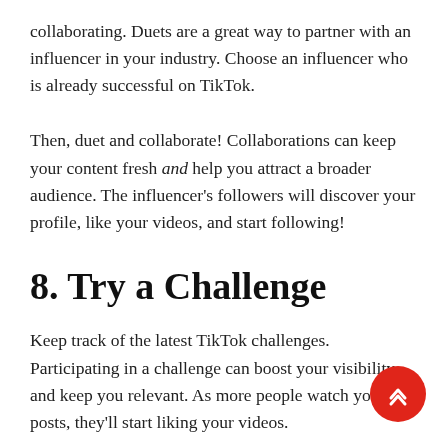collaborating. Duets are a great way to partner with an influencer in your industry. Choose an influencer who is already successful on TikTok.
Then, duet and collaborate! Collaborations can keep your content fresh and help you attract a broader audience. The influencer's followers will discover your profile, like your videos, and start following!
8. Try a Challenge
Keep track of the latest TikTok challenges. Participating in a challenge can boost your visibility and keep you relevant. As more people watch your posts, they'll start liking your videos.